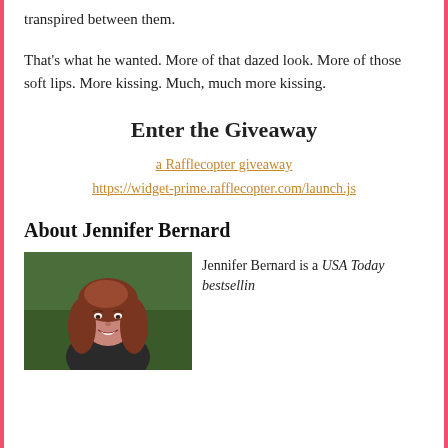transpired between them.
That's what he wanted. More of that dazed look. More of those soft lips. More kissing. Much, much more kissing.
Enter the Giveaway
a Rafflecopter giveaway
https://widget-prime.rafflecopter.com/launch.js
About Jennifer Bernard
[Figure (photo): Headshot of Jennifer Bernard, a woman with reddish-brown hair, smiling, against a green outdoor background.]
Jennifer Bernard is a USA Today bestsellin